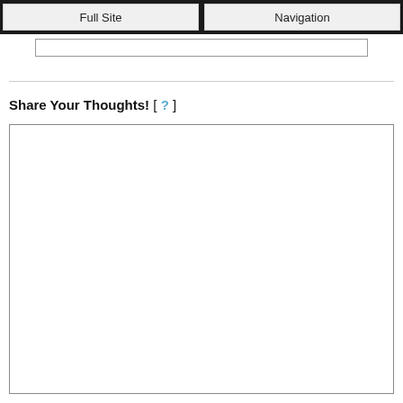Full Site | Navigation
[Figure (screenshot): Text input field (search or URL bar), empty, with border]
Share Your Thoughts! [ ? ]
[Figure (screenshot): Large empty textarea for user input]